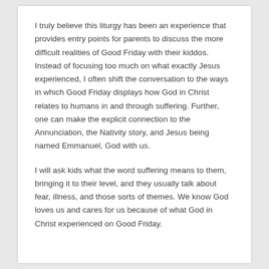I truly believe this liturgy has been an experience that provides entry points for parents to discuss the more difficult realities of Good Friday with their kiddos. Instead of focusing too much on what exactly Jesus experienced, I often shift the conversation to the ways in which Good Friday displays how God in Christ relates to humans in and through suffering. Further, one can make the explicit connection to the Annunciation, the Nativity story, and Jesus being named Emmanuel, God with us.
I will ask kids what the word suffering means to them, bringing it to their level, and they usually talk about fear, illness, and those sorts of themes. We know God loves us and cares for us because of what God in Christ experienced on Good Friday.